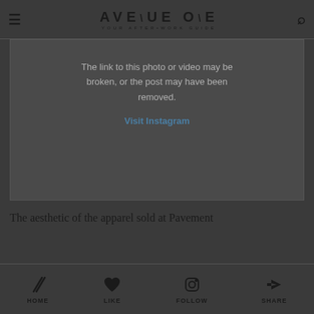AVENUE ONE — YOUR AFTER-WORK GUIDE
[Figure (screenshot): Instagram broken embed box showing: 'The link to this photo or video may be broken, or the post may have been removed.' with a 'Visit Instagram' link]
The aesthetic of the apparel sold at Pavement
HOME | LIKE | FOLLOW | SHARE